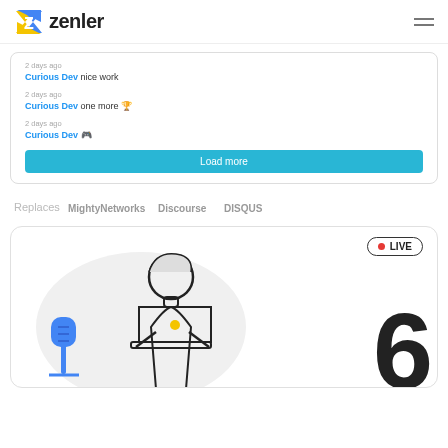[Figure (logo): Zenler logo with stylized Z icon and text 'zenler']
[Figure (screenshot): Comment feed card showing three comments from 'Curious Dev' with timestamps '2 days ago' and a 'Load more' button]
[Figure (illustration): Replaces bar showing logos: MightyNetworks, Discourse, DISQUS]
[Figure (illustration): Live webinar illustration showing person at laptop with microphone, LIVE badge, and large number 6]